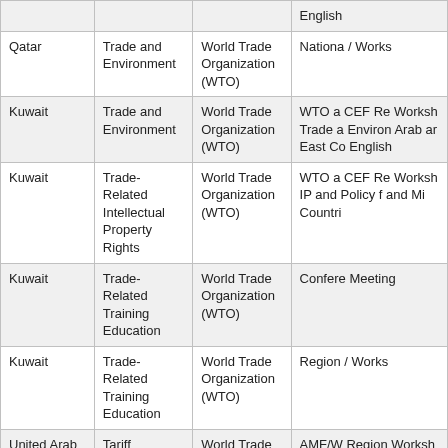| Country | Subject | Organization | Description |
| --- | --- | --- | --- |
|  |  |  | English |
| Qatar | Trade and Environment | World Trade Organization (WTO) | Nationa / Works |
| Kuwait | Trade and Environment | World Trade Organization (WTO) | WTO a CEF Re Worksh Trade a Environ Arab ar East Co English |
| Kuwait | Trade-Related Intellectual Property Rights | World Trade Organization (WTO) | WTO a CEF Re Worksh IP and Policy f and Mi Countri |
| Kuwait | Trade-Related Training Education | World Trade Organization (WTO) | Confere Meeting |
| Kuwait | Trade-Related Training Education | World Trade Organization (WTO) | Region / Works |
| United Arab Emirates | Tariff Negotiations - Non-Agricultural Market Access | World Trade Organization (WTO) | AMF/W Region Worksh Market Issues Special 2 |